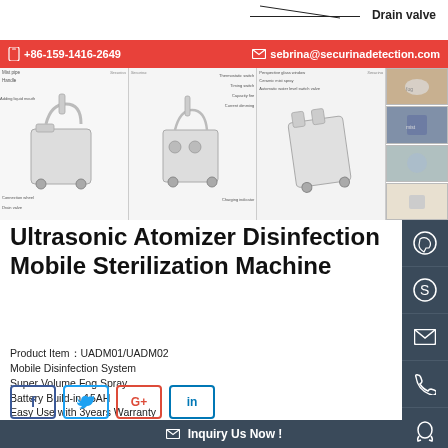Drain valve
+86-159-1416-2649   sebrina@securinadetection.com
[Figure (photo): Product images of Ultrasonic Atomizer Disinfection Mobile Sterilization Machine from multiple angles with labeled parts]
Ultrasonic Atomizer Disinfection Mobile Sterilization Machine
Product Item：UADM01/UADM02
Mobile Disinfection System
Super Volume Fog Spray
Battery Build-in 15AH
Easy Use with 3years Warranty
Category：New Products
[Figure (infographic): Social share buttons: Facebook, Twitter, Google+, LinkedIn]
Inquiry Us Now !